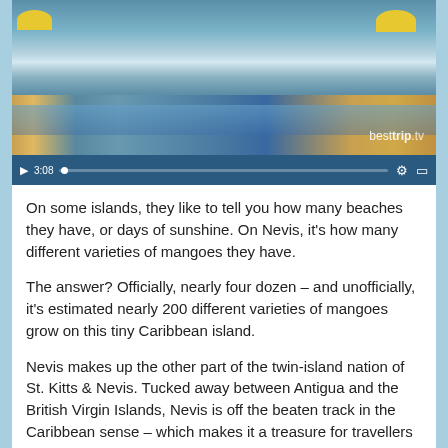[Figure (screenshot): Video player showing a tropical resort pool with yellow umbrellas, palm trees, and lounge chairs. The video controls show 3:08 duration. The besttrip.tv watermark is visible in the lower right of the video frame.]
On some islands, they like to tell you how many beaches they have, or days of sunshine. On Nevis, it's how many different varieties of mangoes they have.
The answer? Officially, nearly four dozen – and unofficially, it's estimated nearly 200 different varieties of mangoes grow on this tiny Caribbean island.
Nevis makes up the other part of the twin-island nation of St. Kitts & Nevis. Tucked away between Antigua and the British Virgin Islands, Nevis is off the beaten track in the Caribbean sense – which makes it a treasure for travellers looking for a secluded, charming island paradise.
Dominated by the cloud-topped Mount Nevis, whose verdant sides slope down before becoming sandy beaches at the water's edge, Nevis is beloved by savvy travellers in...